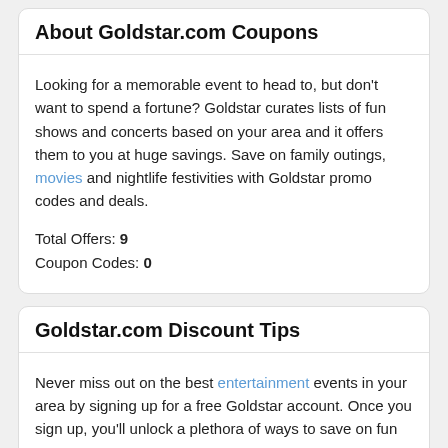About Goldstar.com Coupons
Looking for a memorable event to head to, but don't want to spend a fortune? Goldstar curates lists of fun shows and concerts based on your area and it offers them to you at huge savings. Save on family outings, movies and nightlife festivities with Goldstar promo codes and deals.
Total Offers: 9
Coupon Codes: 0
Goldstar.com Discount Tips
Never miss out on the best entertainment events in your area by signing up for a free Goldstar account. Once you sign up, you'll unlock a plethora of ways to save on fun